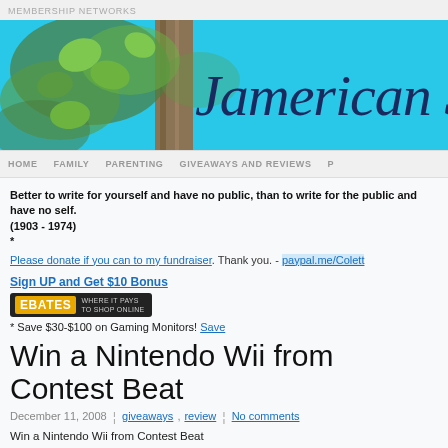MEMBERSHIP NETWORKS
[Figure (illustration): Blog banner with cyan/blue background, ivy and wooden post on left, cursive script text reading 'Jamerican Sp...' (partially visible)]
HOME   FAMILY   PARENTING   GIVEAWAYS AND REVIEWS   P...
Better to write for yourself and have no public, than to write for the public and have no self. (1903 - 1974)
*
Please donate if you can to my fundraiser. Thank you. - paypal.me/Colett...
Sign UP and Get $10 Bonus
[Figure (logo): Ebates logo: yellow 'EBATES' text on dark background with tagline 'WHERE IT PAYS TO SHOP ONLINE']
* Save $30-$100 on Gaming Monitors! Save
Win a Nintendo Wii from Contest Beat
December 11, 2008  ¦  giveaways , review  ¦  No comments
Win a Nintendo Wii from Contest Beat